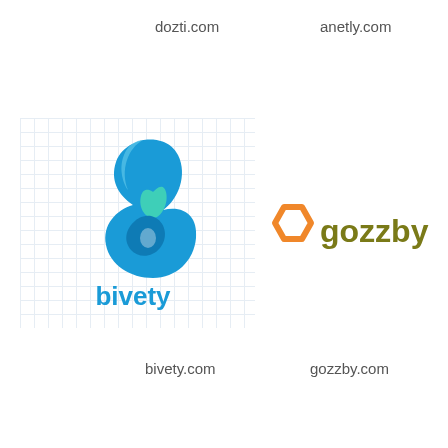dozti.com
anetly.com
[Figure (logo): Bivety logo: blue water-drop stylized letter b with teal accent, and blue text 'bivety' below, shown on a light grid background]
[Figure (logo): Gozzby logo: orange hexagon outline icon with dark olive/khaki text 'gozzby']
bivety.com
gozzby.com